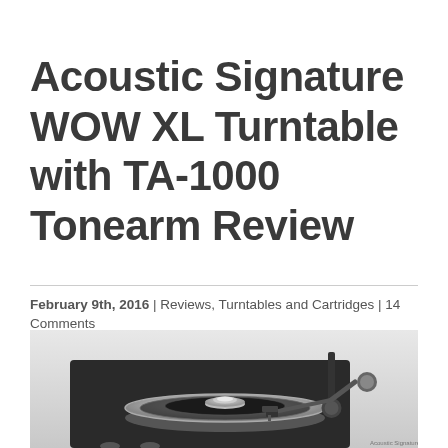Acoustic Signature WOW XL Turntable with TA-1000 Tonearm Review
February 9th, 2016 | Reviews, Turntables and Cartridges | 14 Comments
[Figure (photo): Photo of an Acoustic Signature WOW XL turntable with TA-1000 tonearm, showing a black plinth with a large silver platter and a tonearm on the right side, against a light grey background.]